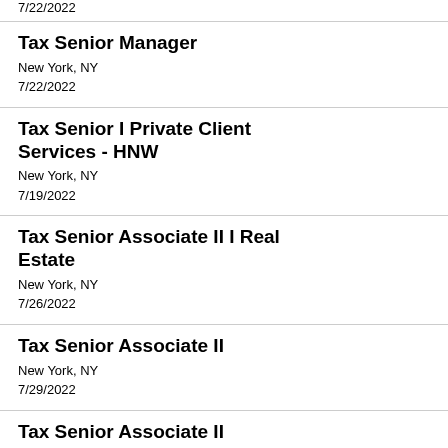7/22/2022 (partial top entry)
Tax Senior Manager
New York, NY
7/22/2022
Tax Senior I Private Client Services - HNW
New York, NY
7/19/2022
Tax Senior Associate II I Real Estate
New York, NY
7/26/2022
Tax Senior Associate II
New York, NY
7/29/2022
Tax Senior Associate II (partial bottom entry)